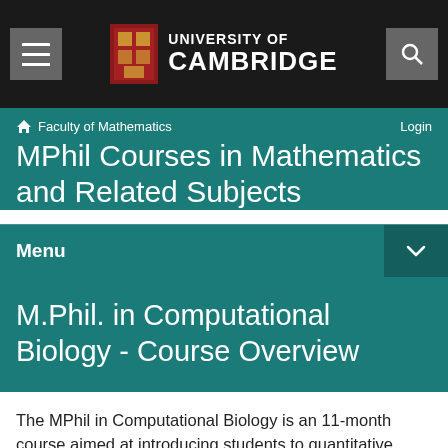[Figure (logo): University of Cambridge logo with crest and text]
Faculty of Mathematics   Login
MPhil Courses in Mathematics and Related Subjects
Menu
M.Phil. in Computational Biology - Course Overview
The MPhil in Computational Biology is an 11-month course aimed at introducing students to quantitative aspects of biological and medical sciences. It is intended